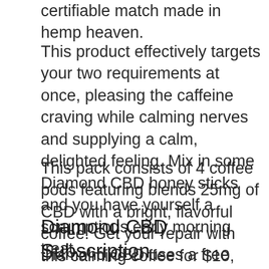certifiable match made in hemp heaven.
This product effectively targets your two requirements at once, pleasing the caffeine craving while calming nerves and supplying a calm, delighted feeling. Mix in some Diamond CBD honey sticks and you have yourself a scrumptious early morning treat.
This pack consists of 4 coffee pods featuring blends 25mg of CBD with a bright, flavorful coffee. Get your repair with this calming coffee for $10, below $20.
Diamond CBD Subscription
Diamond CBD uses a free subscription service for a series of their items. From